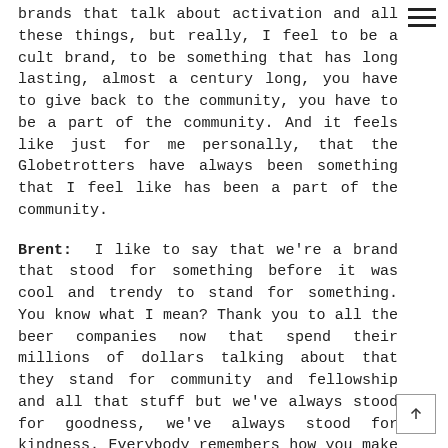brands that talk about activation and all these things, but really, I feel to be a cult brand, to be something that has long lasting, almost a century long, you have to give back to the community, you have to be a part of the community. And it feels like just for me personally, that the Globetrotters have always been something that I feel like has been a part of the community.
Brent:  I like to say that we're a brand that stood for something before it was cool and trendy to stand for something. You know what I mean? Thank you to all the beer companies now that spend their millions of dollars talking about that they stand for community and fellowship and all that stuff but we've always stood for goodness, we've always stood for kindness. Everybody remembers how you make them feel, and we make people feel good. You feel better when you leave a Globetrotters game than when you walk in, and that creates that longevity. Who doesn't want to engage and